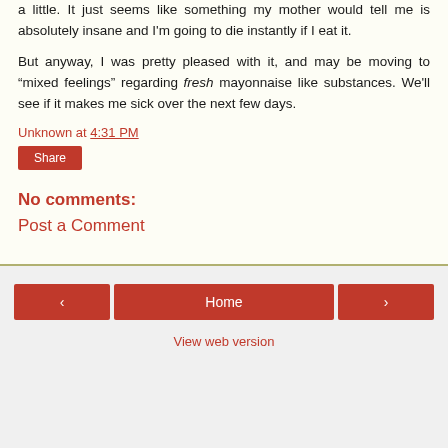a little. It just seems like something my mother would tell me is absolutely insane and I'm going to die instantly if I eat it.
But anyway, I was pretty pleased with it, and may be moving to "mixed feelings" regarding fresh mayonnaise like substances. We'll see if it makes me sick over the next few days.
Unknown at 4:31 PM
Share
No comments:
Post a Comment
‹  Home  ›  View web version